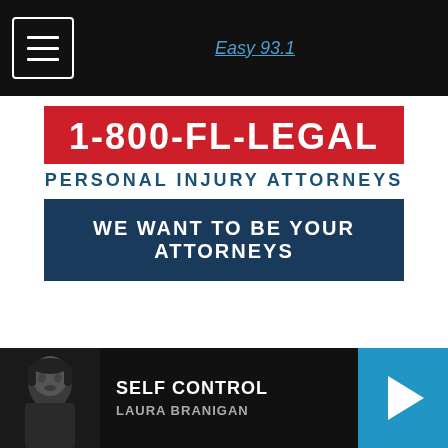Easy 93.1
[Figure (screenshot): Navigation bar with hamburger menu icon and Easy 93.1 logo]
[Figure (other): Advertisement banner for 1-800-FL-LEGAL Personal Injury Attorneys with red phone number banner and dark blue CTA button reading WE WANT TO BE YOUR ATTORNEYS]
NEWSLETTER
Sign up below to be added to our mailing list for the latest news updates, access to exclusive contests, and more!
[Figure (infographic): Grey SIGN UP button with envelope icon]
[Figure (other): Now playing bar: thumbnail of Laura Branigan, track SELF CONTROL, artist LAURA BRANIGAN, blue play button on right]